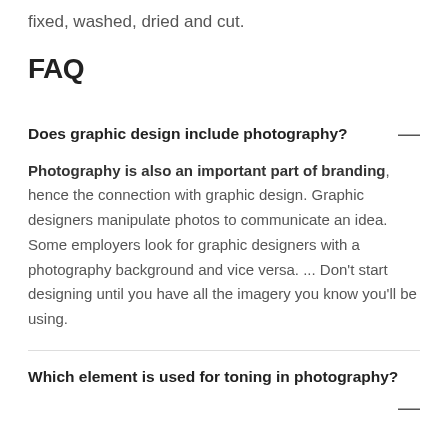fixed, washed, dried and cut.
FAQ
Does graphic design include photography?
Photography is also an important part of branding, hence the connection with graphic design. Graphic designers manipulate photos to communicate an idea. Some employers look for graphic designers with a photography background and vice versa. ... Don't start designing until you have all the imagery you know you'll be using.
Which element is used for toning in photography?